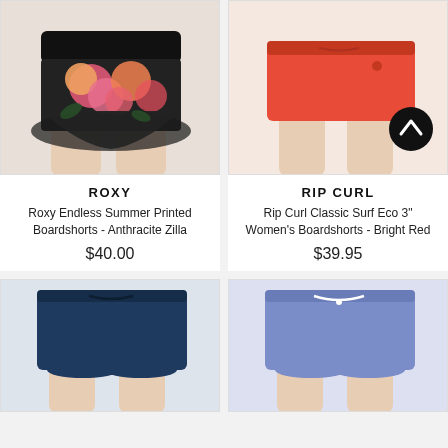[Figure (photo): Roxy Endless Summer Printed Boardshorts - Anthracite Zilla, black with floral pattern, worn on mannequin]
[Figure (photo): Rip Curl Classic Surf Eco 3 inch Women's Boardshorts - Bright Red, coral/orange red shorts worn on mannequin, scroll-up button overlay]
ROXY
Roxy Endless Summer Printed Boardshorts - Anthracite Zilla
$40.00
RIP CURL
Rip Curl Classic Surf Eco 3" Women's Boardshorts - Bright Red
$39.95
[Figure (photo): Dark navy blue boardshorts with drawstring, worn on mannequin]
[Figure (photo): Periwinkle/lavender boardshorts with white drawstring, worn on mannequin]